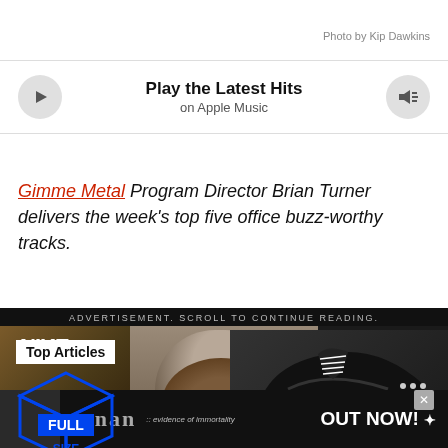Photo by Kip Dawkins
Play the Latest Hits
on Apple Music
Gimme Metal Program Director Brian Turner delivers the week's top five office buzz-worthy tracks.
ADVERTISEMENT. SCROLL TO CONTINUE READING.
[Figure (screenshot): Advertisement showing sneaker boxes and a person with Nike shoes, with Top Articles label and a FULL SIZE box icon overlay]
Top Articles
OUT NOW!